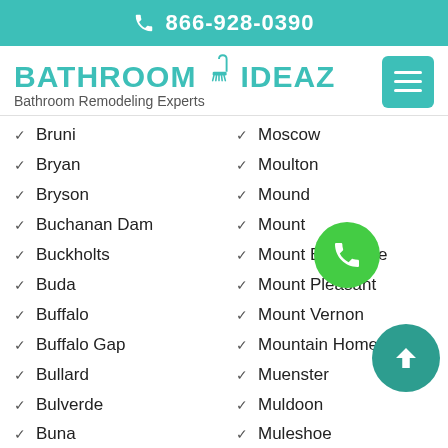866-928-0390
[Figure (logo): Bathroom Ideaz logo with shower head icon and text 'Bathroom Remodeling Experts']
Bruni
Bryan
Bryson
Buchanan Dam
Buckholts
Buda
Buffalo
Buffalo Gap
Bullard
Bulverde
Buna
Moscow
Moulton
Mound
Mount
Mount Enterprise
Mount Pleasant
Mount Vernon
Mountain Home
Muenster
Muldoon
Muleshoe